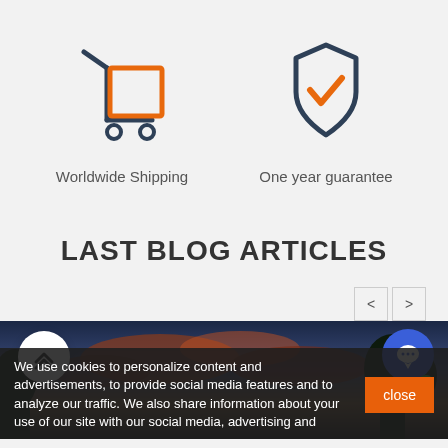[Figure (illustration): Shopping cart icon with orange box outline and dark blue cart handle/wheels]
Worldwide Shipping
[Figure (illustration): Shield icon with dark outline and orange checkmark inside]
One year guarantee
LAST BLOG ARTICLES
[Figure (photo): Sunset/dusk sky with clouds and trees silhouette]
We use cookies to personalize content and advertisements, to provide social media features and to analyze our traffic. We also share information about your use of our site with our social media, advertising and